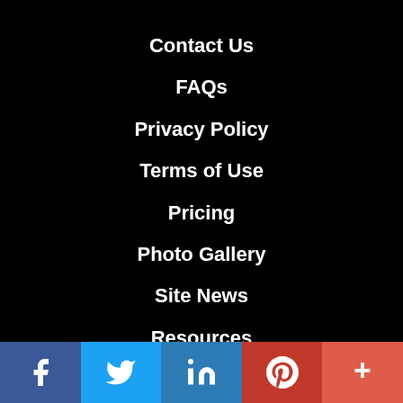Contact Us
FAQs
Privacy Policy
Terms of Use
Pricing
Photo Gallery
Site News
Resources
[Figure (infographic): Social media share bar with Facebook, Twitter, LinkedIn, Pinterest, and More buttons]